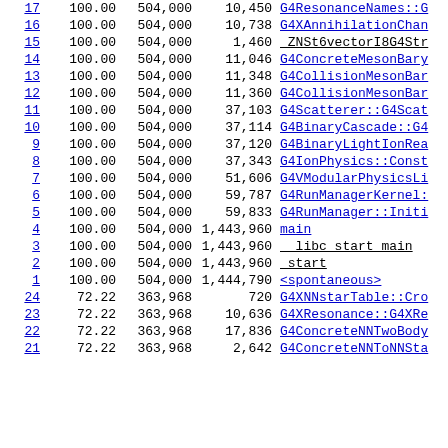| rank | % | calls | self | name |
| --- | --- | --- | --- | --- |
| 17 | 100.00 | 504,000 | 10,450 | G4ResonanceNames::G... |
| 16 | 100.00 | 504,000 | 10,738 | G4XAnnihilationChan... |
| 15 | 100.00 | 504,000 | 1,460 | ZNSt6vectorI8G4Str... |
| 14 | 100.00 | 504,000 | 11,046 | G4ConcreteMesonBary... |
| 13 | 100.00 | 504,000 | 11,348 | G4CollisionMesonBar... |
| 12 | 100.00 | 504,000 | 11,360 | G4CollisionMesonBar... |
| 11 | 100.00 | 504,000 | 37,103 | G4Scatterer::G4Scat... |
| 10 | 100.00 | 504,000 | 37,114 | G4BinaryCascade::G4... |
| 9 | 100.00 | 504,000 | 37,120 | G4BinaryLightIonRea... |
| 8 | 100.00 | 504,000 | 37,343 | G4IonPhysics::Const... |
| 7 | 100.00 | 504,000 | 51,606 | G4VModularPhysicsLi... |
| 6 | 100.00 | 504,000 | 59,787 | G4RunManagerKernel:... |
| 5 | 100.00 | 504,000 | 59,833 | G4RunManager::Initi... |
| 4 | 100.00 | 504,000 | 1,443,960 | main |
| 3 | 100.00 | 504,000 | 1,443,960 | _libc_start_main |
| 2 | 100.00 | 504,000 | 1,443,960 | _start |
| 1 | 100.00 | 504,000 | 1,444,790 | <spontaneous> |
| 24 | 72.22 | 363,968 | 720 | G4XNNstarTable::Cro... |
| 23 | 72.22 | 363,968 | 10,636 | G4XResonance::G4XRe... |
| 22 | 72.22 | 363,968 | 17,836 | G4ConcreteNNTwoBody... |
| 21 | 72.22 | 363,968 | 2,642 | G4ConcreteNNToNNSta... |